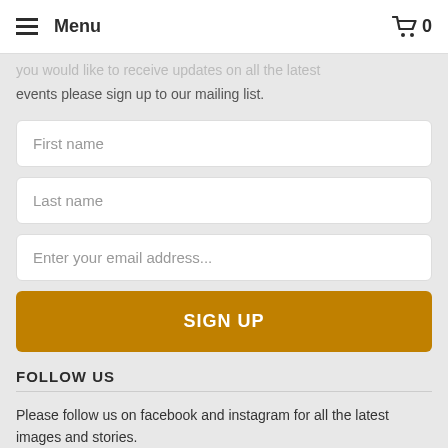Menu   0
you would like to receive updates on all the latest events please sign up to our mailing list.
First name
Last name
Enter your email address...
SIGN UP
FOLLOW US
Please follow us on facebook and instagram for all the latest images and stories.
[Figure (illustration): Facebook and Instagram social media icons]